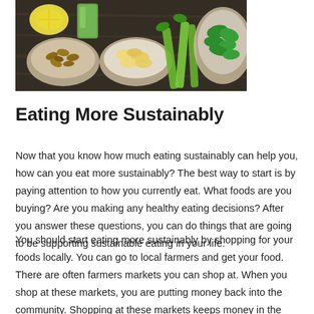[Figure (photo): Overhead photo of various healthy foods in glass bowls on a dark wooden surface: almonds, banana chips, spinach leaves, a lemon half, a green smoothie, and celery stalks.]
Eating More Sustainably
Now that you know how much eating sustainably can help you, how can you eat more sustainably? The best way to start is by paying attention to how you currently eat. What foods are you buying? Are you making any healthy eating decisions? After you answer these questions, you can do things that are going to be supporting sustainable eating in your life.
You should start eating more sustainably by shopping for your foods locally. You can go to local farmers and get your food. There are often farmers markets you can shop at. When you shop at these markets, you are putting money back into the community. Shopping at these markets keeps money in the state as well.